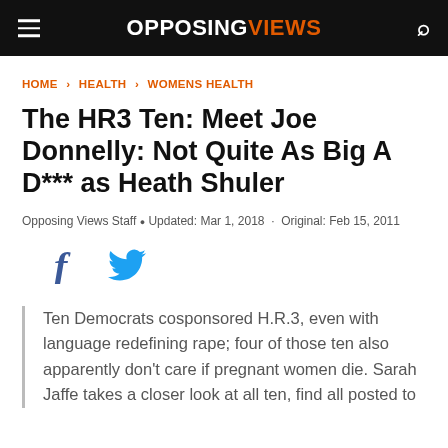OPPOSING VIEWS
HOME › HEALTH › WOMENS HEALTH
The HR3 Ten: Meet Joe Donnelly: Not Quite As Big A D*** as Heath Shuler
Opposing Views Staff • Updated: Mar 1, 2018 · Original: Feb 15, 2011
Ten Democrats cosponsored H.R.3, even with language redefining rape; four of those ten also apparently don't care if pregnant women die. Sarah Jaffe takes a closer look at all ten, find all posted to